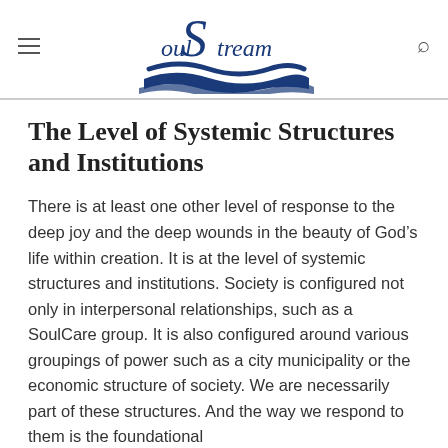[Figure (logo): SoulStream logo with stylized S and wave design in dark blue]
The Level of Systemic Structures and Institutions
There is at least one other level of response to the deep joy and the deep wounds in the beauty of God’s life within creation. It is at the level of systemic structures and institutions. Society is configured not only in interpersonal relationships, such as a SoulCare group. It is also configured around various groupings of power such as a city municipality or the economic structure of society. We are necessarily part of these structures. And the way we respond to them is the foundational